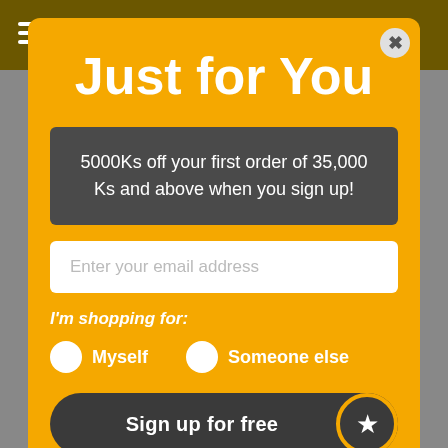Just for You
5000Ks off your first order of 35,000 Ks and above when you sign up!
Enter your email address
I'm shopping for:
Myself
Someone else
Sign up for free